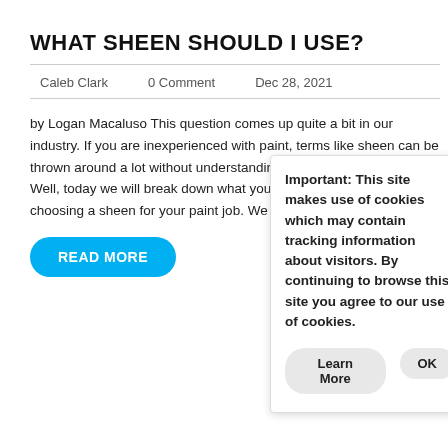WHAT SHEEN SHOULD I USE?
Caleb Clark   0 Comment   Dec 28, 2021
by Logan Macaluso This question comes up quite a bit in our industry. If you are inexperienced with paint, terms like sheen can be thrown around a lot without understanding what they really mean. Well, today we will break down what you need to consider when choosing a sheen for your paint job. We [...]
READ MORE
Important: This site makes use of cookies which may contain tracking information about visitors. By continuing to browse this site you agree to our use of cookies.
Learn More   OK
FREE ESTIMATE